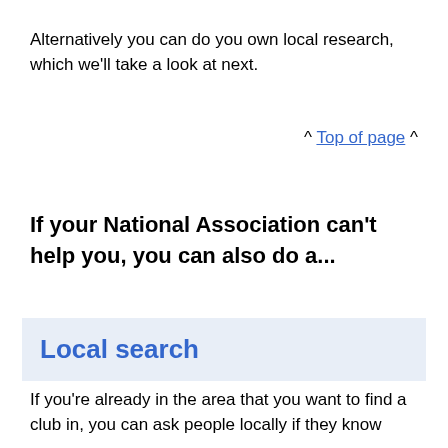Alternatively you can do you own local research, which we'll take a look at next.
^ Top of page ^
If your National Association can't help you, you can also do a...
Local search
If you're already in the area that you want to find a club in, you can ask people locally if they know